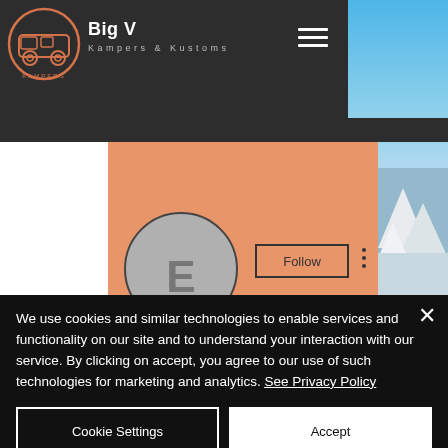[Figure (screenshot): Website screenshot of Big V Kampers & Kustoms showing dark header with logo, hamburger menu, orange profile banner with Follow button, and a cookie consent overlay at the bottom with Cookie Settings and Accept buttons.]
Big V
Kampers & Kustoms
We use cookies and similar technologies to enable services and functionality on our site and to understand your interaction with our service. By clicking on accept, you agree to our use of such technologies for marketing and analytics. See Privacy Policy
Cookie Settings
Accept